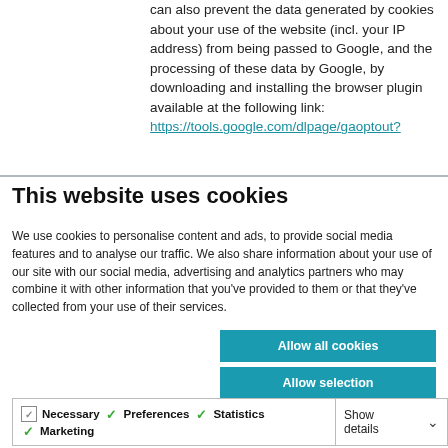can also prevent the data generated by cookies about your use of the website (incl. your IP address) from being passed to Google, and the processing of these data by Google, by downloading and installing the browser plugin available at the following link: https://tools.google.com/dlpage/gaoptout?
This website uses cookies
We use cookies to personalise content and ads, to provide social media features and to analyse our traffic. We also share information about your use of our site with our social media, advertising and analytics partners who may combine it with other information that you've provided to them or that they've collected from your use of their services.
Allow all cookies
Allow selection
Use necessary cookies only
Necessary  Preferences  Statistics  Marketing  Show details